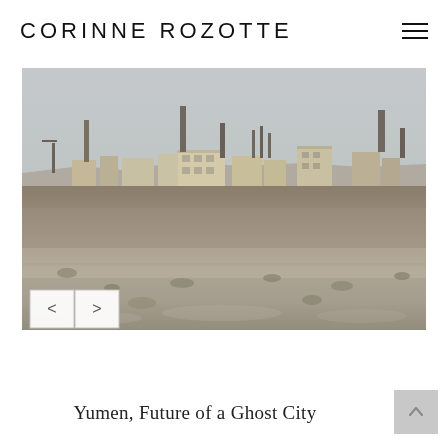CORINNE ROZOTTE
[Figure (photo): Wide landscape photograph showing an abandoned industrial site in a desert environment. Derelict factory buildings and tall smokestacks/chimneys rise from a flat arid plain under an overcast grey sky. The foreground is dry scrubland with sparse vegetation and rocky soil.]
Yumen, Future of a Ghost City